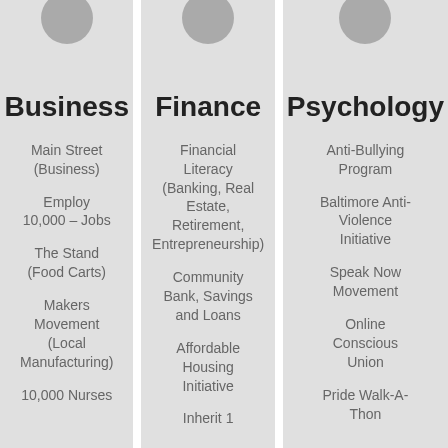Business
Main Street (Business)
Employ 10,000 – Jobs
The Stand (Food Carts)
Makers Movement (Local Manufacturing)
10,000 Nurses
Finance
Financial Literacy (Banking, Real Estate, Retirement, Entrepreneurship)
Community Bank, Savings and Loans
Affordable Housing Initiative
Inherit 1
Psychology
Anti-Bullying Program
Baltimore Anti-Violence Initiative
Speak Now Movement
Online Conscious Union
Pride Walk-A-Thon